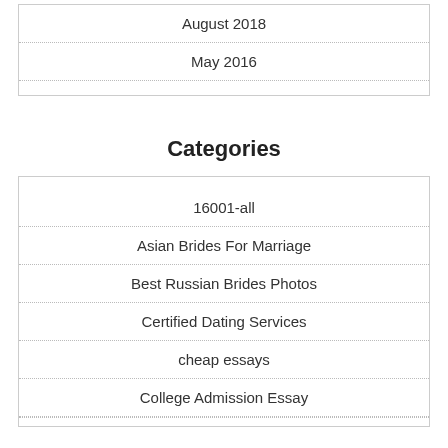August 2018
May 2016
Categories
16001-all
Asian Brides For Marriage
Best Russian Brides Photos
Certified Dating Services
cheap essays
College Admission Essay